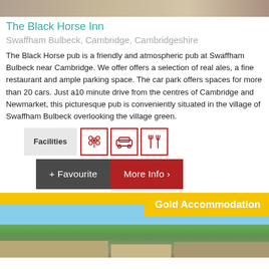[Figure (photo): Top portion of a pub or countryside photo, cropped]
The Black Horse Inn
Swaffham Bulbeck, Cambridge, Cambridgeshire
The Black Horse pub is a friendly and atmospheric pub at Swaffham Bulbeck near Cambridge. We offer offers a selection of real ales, a fine restaurant and ample parking space. The car park offers spaces for more than 20 cars. Just a10 minute drive from the centres of Cambridge and Newmarket, this picturesque pub is conveniently situated in the village of Swaffham Bulbeck overlooking the village green.
[Figure (infographic): Facilities icons row: garden/flower icon, car icon, restaurant/cutlery icon with Facilities label]
[Figure (infographic): Buttons: + Favourite (dark grey) and More Info > (dark red)]
Gold Accommodation
[Figure (photo): Countryside landscape with trees, fields, and farm buildings rooftops under a blue sky]